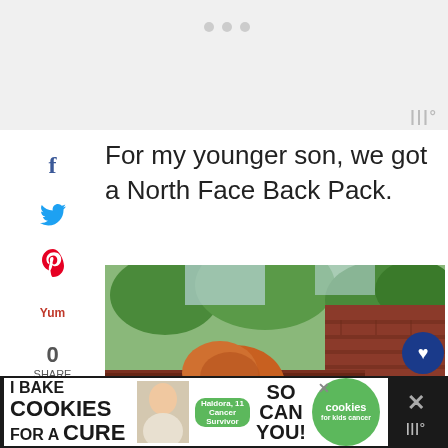[Figure (other): Three gray loading dots on gray background at top]
For my younger son, we got a North Face Back Pack.
[Figure (photo): A red-haired young child leaning over a brick ledge, viewed from behind, wearing a blue backpack. Trees visible in background.]
[Figure (other): Advertisement banner: I Bake COOKIES For A CURE - Haldora, 11 Cancer Survivor - So can you! - cookies for kids cancer]